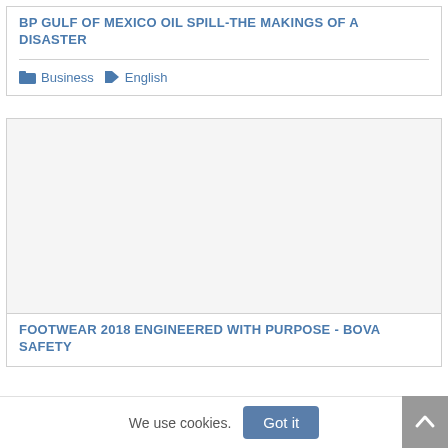BP GULF OF MEXICO OIL SPILL-THE MAKINGS OF A DISASTER
Business   English
[Figure (other): Large blank/placeholder image area for the second card]
FOOTWEAR 2018 ENGINEERED WITH PURPOSE - BOVA SAFETY
We use cookies.  Got it